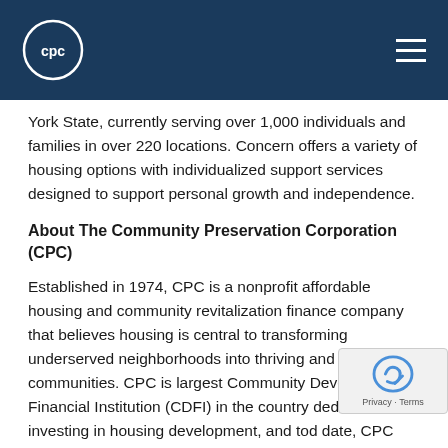CPC
York State, currently serving over 1,000 individuals and families in over 220 locations. Concern offers a variety of housing options with individualized support services designed to support personal growth and independence.
About The Community Preservation Corporation (CPC)
Established in 1974, CPC is a nonprofit affordable housing and community revitalization finance company that believes housing is central to transforming underserved neighborhoods into thriving and vibrant communities. CPC is largest Community Development Financial Institution (CDFI) in the country dedicated to investing in housing development, and tod date, CPC has leveraged approximately $9.7 in private and public investment to finance more than units of housing. The company's work with its partners has